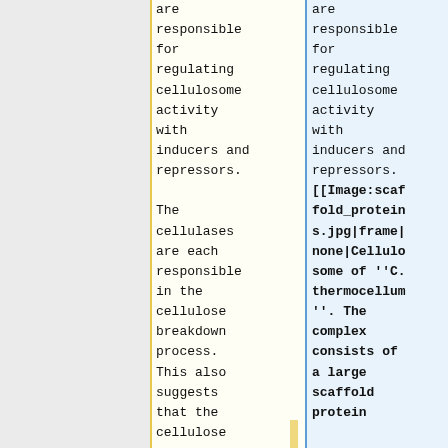are responsible for regulating cellulosome activity with inducers and repressors.
The cellulases are each responsible in the cellulose breakdown process. This also suggests that the cellulose
are responsible for regulating cellulosome activity with inducers and repressors.
[[Image:scaffold_proteins.jpg|frame|none|Cellulosome of ''C. thermocellum''. The complex consists of a large scaffold protein